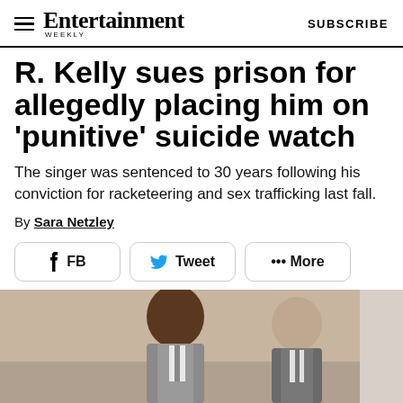Entertainment Weekly — SUBSCRIBE
R. Kelly sues prison for allegedly placing him on 'punitive' suicide watch
The singer was sentenced to 30 years following his conviction for racketeering and sex trafficking last fall.
By Sara Netzley
[Figure (infographic): Share buttons: FB, Tweet, More]
[Figure (photo): Photo of R. Kelly and another man in a courtroom setting]